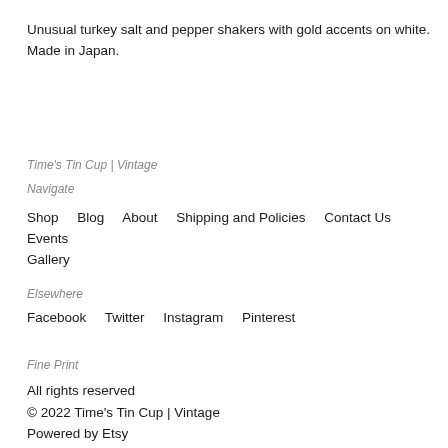Unusual turkey salt and pepper shakers with gold accents on white. Made in Japan.
Time's Tin Cup | Vintage
Navigate
Shop    Blog    About    Shipping and Policies    Contact Us    Events    Gallery
Elsewhere
Facebook    Twitter    Instagram    Pinterest
Fine Print
All rights reserved
© 2022 Time's Tin Cup | Vintage
Powered by Etsy